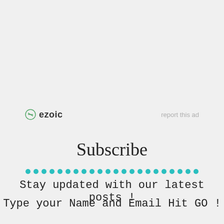[Figure (logo): Ezoic logo with circular icon and 'ezoic' text, alongside 'report this ad' link]
Subscribe
Stay updated with our latest posts !
Type your Name and Email  Hit GO !